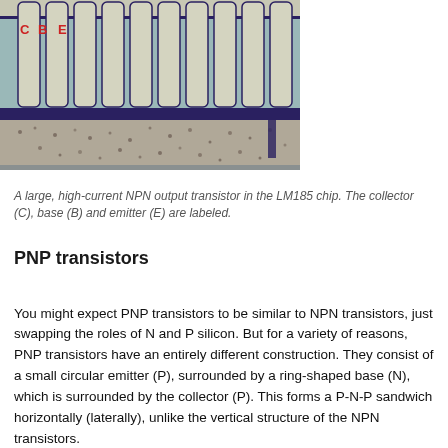[Figure (photo): Microscope photo of a large, high-current NPN output transistor in the LM185 chip. The collector (C), base (B) and emitter (E) are labeled in red text on the image. The chip shows vertical finger-like structures with metallic contacts and a grainy silicon substrate visible at the bottom.]
A large, high-current NPN output transistor in the LM185 chip. The collector (C), base (B) and emitter (E) are labeled.
PNP transistors
You might expect PNP transistors to be similar to NPN transistors, just swapping the roles of N and P silicon. But for a variety of reasons, PNP transistors have an entirely different construction. They consist of a small circular emitter (P), surrounded by a ring-shaped base (N), which is surrounded by the collector (P). This forms a P-N-P sandwich horizontally (laterally), unlike the vertical structure of the NPN transistors.